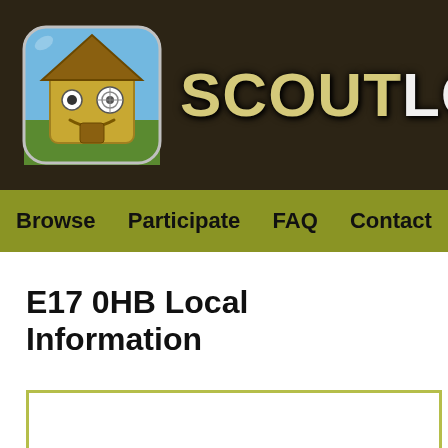[Figure (logo): ScoutLocal app logo: rounded square icon with a cartoon house character on green/blue background, next to the text SCOUTLOCAL in large bold font on a dark brown header bar]
Browse   Participate   FAQ   Contact
E17 0HB Local Information
[Figure (other): Partially visible white content box with olive/yellow-green border at the bottom of the page]